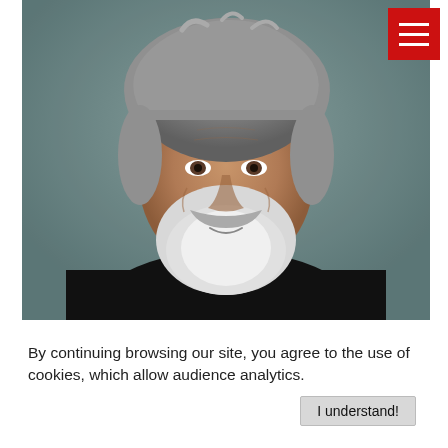[Figure (photo): Portrait photo of an older man with gray curly hair and a gray-white beard, wearing a black sweater, against a grayish-green studio background. A red hamburger menu button appears in the top-right corner of the photo.]
By continuing browsing our site, you agree to the use of cookies, which allow audience analytics.